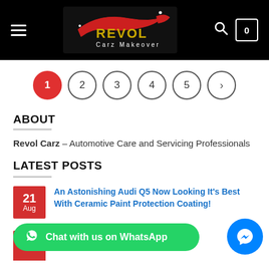[Figure (logo): Revol Carz Makeover logo on black header bar with hamburger menu, search icon, and cart showing 0]
[Figure (infographic): Pagination row with circles numbered 1 (active, red), 2, 3, 4, 5 and a right arrow]
ABOUT
Revol Carz – Automotive Care and Servicing Professionals
LATEST POSTS
An Astonishing Audi Q5 Now Looking It's Best With Ceramic Paint Protection Coating!
Protected With Ce...g!
[Figure (infographic): Green WhatsApp chat button and blue Messenger bubble icon at bottom of page]